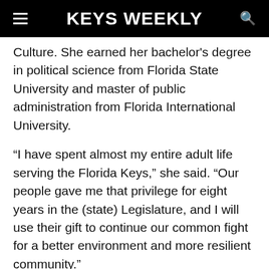KEYS WEEKLY
Culture. She earned her bachelor's degree in political science from Florida State University and master of public administration from Florida International University.
“I have spent almost my entire adult life serving the Florida Keys,” she said. “Our people gave me that privilege for eight years in the (state) Legislature, and I will use their gift to continue our common fight for a better environment and more resilient community.”
Raschein, who will be at the Oct. 20 meeting, said she’s keeping Forster’s executive assistant, Corie McGraw-Abel.
“Mike had a lot of irons in the fire, and I want to stick to that promise and continue his projects,” Raschein said.